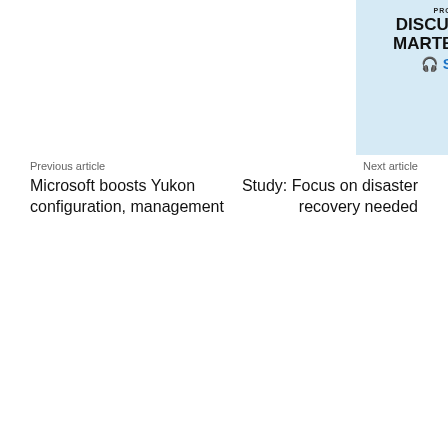[Figure (illustration): ITWC podcast banner ad: 'Produced by ITWC — Discussions with Martech Leaders — Subscribe' with headphone icon and hand holding puzzle piece]
Previous article
Next article
Microsoft boosts Yukon configuration, management
Study: Focus on disaster recovery needed
[Figure (illustration): ITWC/Easter Seals ad for The 38th Annual Canadian Computer Charity Classic, September 8 2022, Lionhead Golf Course. Features 2022 Canadian Computer Golf Classic branding with golfer silhouette, Easter Seals and ITWC logos, and photo strip at bottom.]